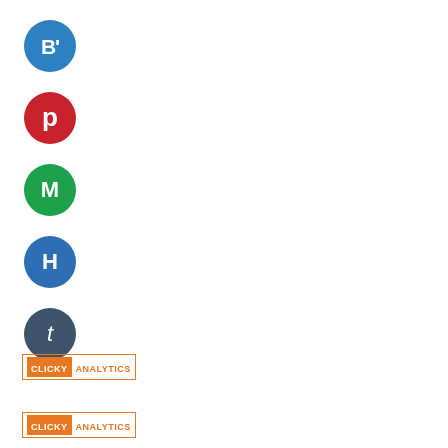[Figure (logo): Blue circle with white B' text - Blogger/B Prime social media icon]
[Figure (logo): Red circle with white Pinterest 'p' icon]
[Figure (logo): Green circle with white 'M' letter - Medium icon]
[Figure (logo): Blue circle with white 'H' letter - HackerNews or similar icon]
[Figure (logo): Dark slate circle with white 't' letter - Tumblr icon]
[Figure (logo): Clicky Analytics logo - orange bordered box with CLICKY in orange fill and ANALYTICS text]
[Figure (logo): Clicky Analytics logo - second instance, orange bordered box with CLICKY in orange fill and ANALYTICS text]